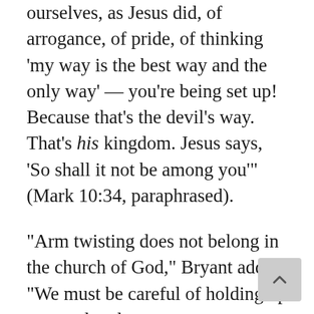ourselves, as Jesus did, of arrogance, of pride, of thinking ‘my way is the best way and the only way’ — you’re being set up! Because that’s the devil’s way. That’s his kingdom. Jesus says, ‘So shall it not be among you’” (Mark 10:34, paraphrased).
“Arm twisting does not belong in the church of God,” Bryant added. “We must be careful of holding up protocol and processes as sacrosanct.”
Bryant said that we are leading like the Gentiles “when the majority can run over the minority without consideration for the needs of the minority, for the desires